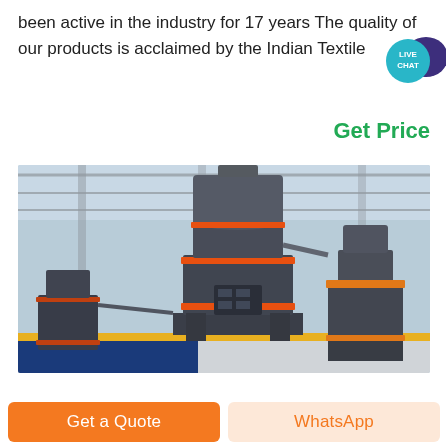been active in the industry for 17 years The quality of our products is acclaimed by the Indian Textile
[Figure (other): Live Chat button with speech bubble icon, teal and dark purple]
Get Price
[Figure (photo): Industrial milling/grinding machines (vertical roller mills) inside a large factory warehouse with steel structure roof. Machines are dark grey with orange accent rings, standing on a yellow-edged floor.]
Get a Quote
WhatsApp